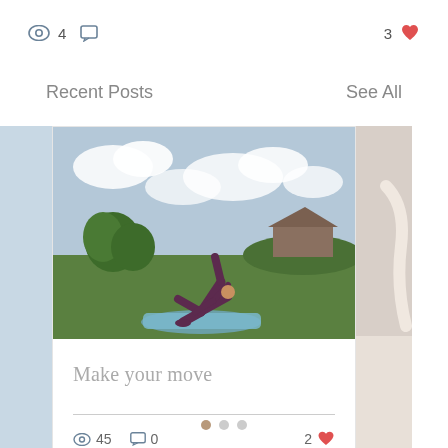[Figure (screenshot): Top bar with view count (eye icon, 4), comment icon, and like count (3, heart icon)]
Recent Posts
See All
[Figure (photo): Person doing a yoga triangle pose outdoors on a blue mat on green grass, with trees and cloudy sky in background]
Make your move
45  0  2 ❤